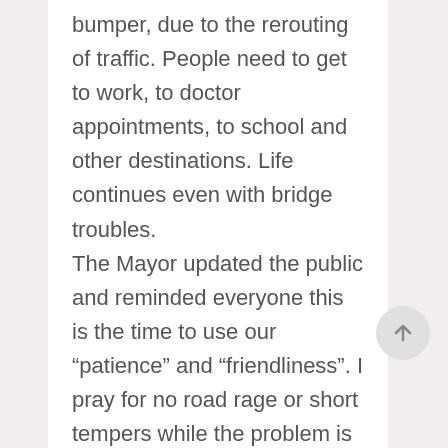bumper, due to the rerouting of traffic. People need to get to work, to doctor appointments, to school and other destinations. Life continues even with bridge troubles. The Mayor updated the public and reminded everyone this is the time to use our “patience” and “friendliness”. I pray for no road rage or short tempers while the problem is being addressed. At last, there is a plan for a temporary fix to be completed by